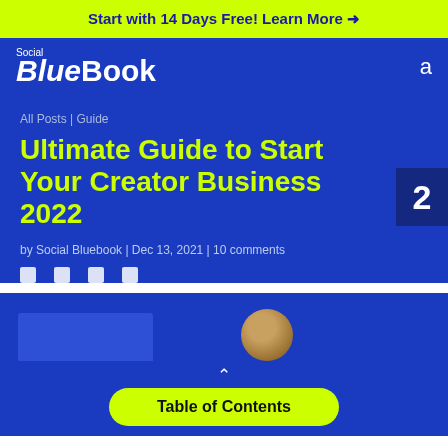Start with 14 Days Free! Learn More →
[Figure (logo): Social BlueBook logo with white text on blue background]
All Posts | Guide
Ultimate Guide to Start Your Creator Business 2022
by Social Bluebook | Dec 13, 2021 | 10 comments
[Figure (illustration): Bottom portion of article page with decorative blue block and avatar circle]
Table of Contents